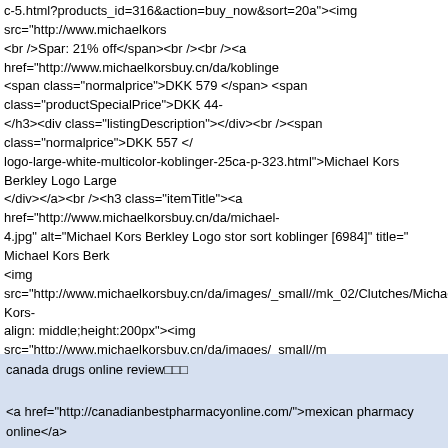c-5.html?products_id=316&action=buy_now&sort=20a"><img src="http://www.michaelkors <br />Spar: 21% off</span><br /><br /><a href="http://www.michaelkorsbuy.cn/da/koblinge <span class="normalprice">DKK 579 </span> <span class="productSpecialPrice">DKK 44- </h3><div class="listingDescription"></div><br /><span class="normalprice">DKK 557 </ logo-large-white-multicolor-koblinger-25ca-p-323.html">Michael Kors Berkley Logo Large </div></a><br /><h3 class="itemTitle"><a href="http://www.michaelkorsbuy.cn/da/michael- 4.jpg" alt="Michael Kors Berkley Logo stor sort koblinger [6984]" title=" Michael Kors Berk <img src="http://www.michaelkorsbuy.cn/da/images/_small//mk_02/Clutches/Michael-Kors- align: middle;height:200px"><img src="http://www.michaelkorsbuy.cn/da/images/_small//m 3b4a-p-320.html"><div style="vertical-align: middle;height:200px"><img src="http://www.n <a href="http://www.michaelkorsbuy.cn/da/michael-kors-berkley-logo-store-black-multicolo <br /><br /></div><div class="centerBoxContentsProducts centeredContent back" style="wi <img src="http://www.michaelkorsbuy.cn/da/includes/templates/polo/buttons/danish/button_ 5.html?products_id=310&action=buy_now&sort=20a"><img src="http://www.michaelkorsb <br /><a href="http://www.michaelkorsbuy.cn/da/koblinger-c-5.html?products_id=317&actio <span class="productPriceDiscount"><br />Spar: 25% off</span><br /><br /><a href="http: <span class="normalprice">DKK 600 </span> <span class="productSpecialPrice">DKK 45: container">          <div id="footer" class="footer">          <div class="col4-set">          <div 4"><h4>betaling& Shipping</h4> <a href="http://www.michaelkorsbuy.cn/da/koblinger-c-5.
canada drugs online review□□□

<a href="http://canadianbestpharmacyonline.com/">mexican pharmacy online</a>
http://canadianbestpharmacyonline.com/
<a href=http://canadianbestpharmacyonline.com/>my canadian pharmacy</a>